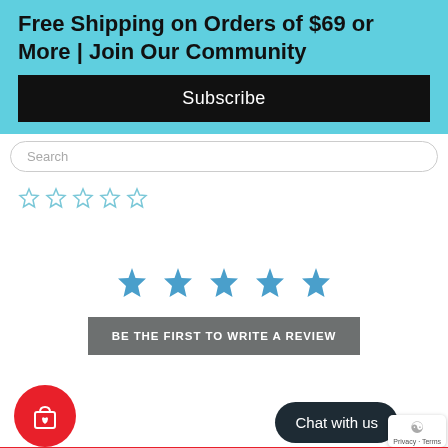Free Shipping on Orders of $69 or More | Join Our Community
Subscribe
Search
[Figure (other): Five empty star rating icons in light blue/teal color]
[Figure (other): Five filled blue star rating icons, centered]
BE THE FIRST TO WRITE A REVIEW
[Figure (other): Red circular wishlist/shopping bag button with heart icon]
Chat with us
Privacy · Terms